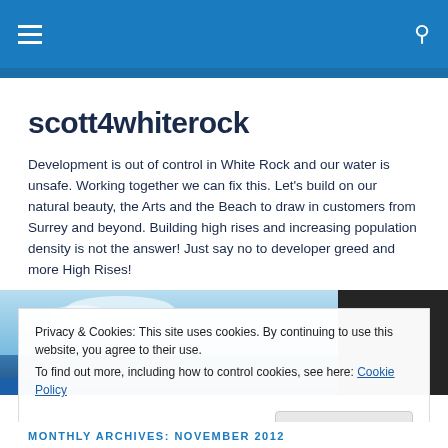scott4whiterock — navigation bar with hamburger menu and search icon
scott4whiterock
Development is out of control in White Rock and our water is unsafe. Working together we can fix this. Let's build on our natural beauty, the Arts and the Beach to draw in customers from Surrey and beyond. Building high rises and increasing population density is not the answer! Just say no to developer greed and more High Rises!
[Figure (photo): Outdoor photo of waterfront/beach scene with blue sky and dark silhouette of person on right side]
Privacy & Cookies: This site uses cookies. By continuing to use this website, you agree to their use.
To find out more, including how to control cookies, see here: Cookie Policy
Close and accept
MONTHLY ARCHIVES: NOVEMBER 2012